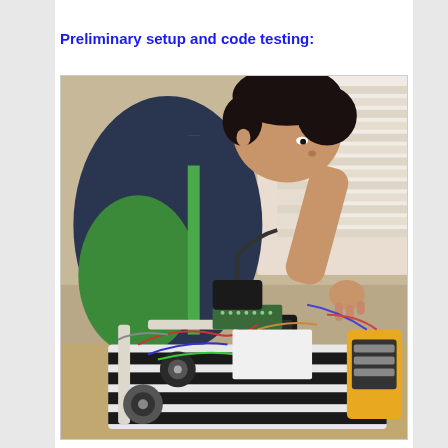Preliminary setup and code testing:
[Figure (photo): A young boy leaning over a robotics/electronics project on a table, working with wires, circuit boards, motors, and electronic components. He is wearing a green shirt and a dark blue vest.]